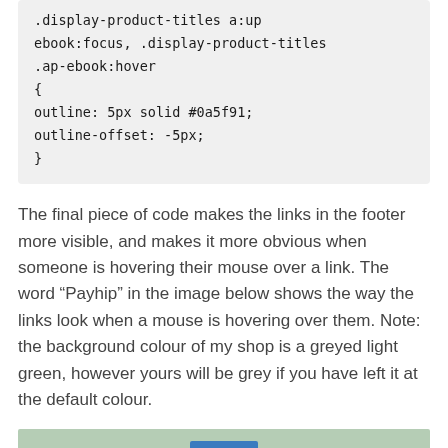.display-product-titles a:up ebook:focus, .display-product-titles .ap-ebook:hover
{
outline: 5px solid #0a5f91;
outline-offset: -5px;
}
The final piece of code makes the links in the footer more visible, and makes it more obvious when someone is hovering their mouse over a link. The word “Payhip” in the image below shows the way the links look when a mouse is hovering over them. Note: the background colour of my shop is a greyed light green, however yours will be grey if you have left it at the default colour.
[Figure (screenshot): Screenshot showing a footer area with a greyed light green background and a blue button element visible]